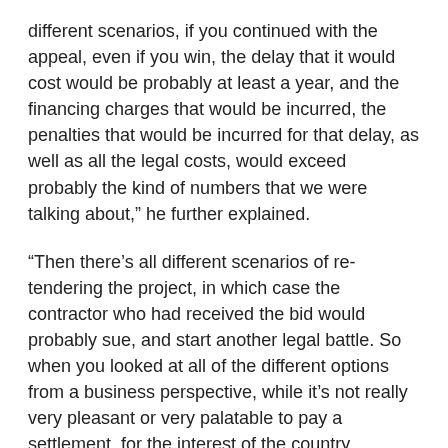different scenarios, if you continued with the appeal, even if you win, the delay that it would cost would be probably at least a year, and the financing charges that would be incurred, the penalties that would be incurred for that delay, as well as all the legal costs, would exceed probably the kind of numbers that we were talking about," he further explained.
“Then there’s all different scenarios of re-tendering the project, in which case the contractor who had received the bid would probably sue, and start another legal battle. So when you looked at all of the different options from a business perspective, while it’s not really very pleasant or very palatable to pay a settlement. for the interest of the country, financially it’s the right thing to do. More importantly for the health of our population, I think it was the right thing to do. I’m happy that the project is moving forward," Minister Lee concluded.